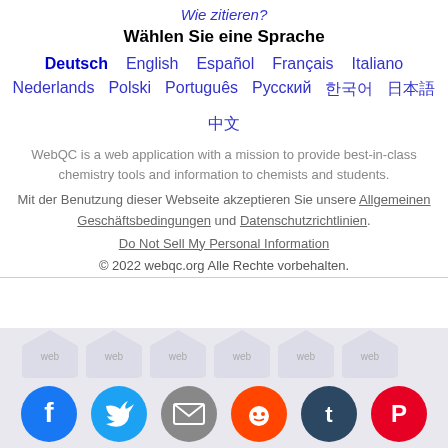Wie zitieren?
Wählen Sie eine Sprache
Deutsch  English  Español  Français  Italiano
Nederlands  Polski  Português  Русский  한국어  日本語  中文
WebQC is a web application with a mission to provide best-in-class chemistry tools and information to chemists and students.
Mit der Benutzung dieser Webseite akzeptieren Sie unsere Allgemeinen Geschäftsbedingungen und Datenschutzrichtlinien. Do Not Sell My Personal Information
© 2022 webqc.org Alle Rechte vorbehalten.
[Figure (illustration): Row of hexagon social sharing icons in light gray at bottom background]
[Figure (illustration): Row of social media icons: Facebook (blue), Twitter (light blue), Email (gray), Reddit (orange), Tumblr (dark navy), Pinterest (red)]